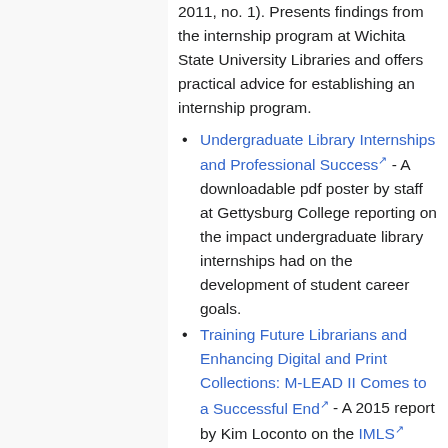2011, no. 1). Presents findings from the internship program at Wichita State University Libraries and offers practical advice for establishing an internship program.
Undergraduate Library Internships and Professional Success [external link] - A downloadable pdf poster by staff at Gettysburg College reporting on the impact undergraduate library internships had on the development of student career goals.
Training Future Librarians and Enhancing Digital and Print Collections: M-LEAD II Comes to a Successful End [external link] - A 2015 report by Kim Loconto on the IMLS [external link] funded Museum Library Education and Digitization [M-LEAD] grant which allowed interns to gain a wide range